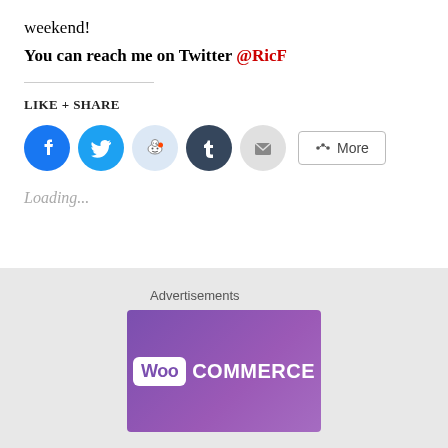weekend!
You can reach me on Twitter @RicF
LIKE + SHARE
[Figure (infographic): Social share buttons: Facebook (blue circle), Twitter (light blue circle), Reddit (pale blue circle), Tumblr (dark blue circle), Email (gray circle), and a More button with share icon]
Loading...
Advertisements
[Figure (logo): WooCommerce logo on purple gradient background - white rounded box with 'Woo' in purple text next to 'COMMERCE' in white bold text]